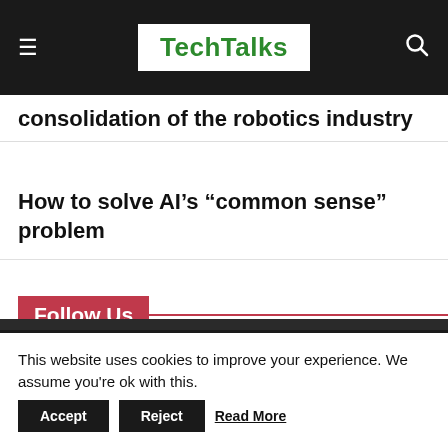TechTalks
consolidation of the robotics industry
How to solve AI’s “common sense” problem
Follow Us
This website uses cookies to improve your experience. We assume you're ok with this.
Accept   Reject   Read More